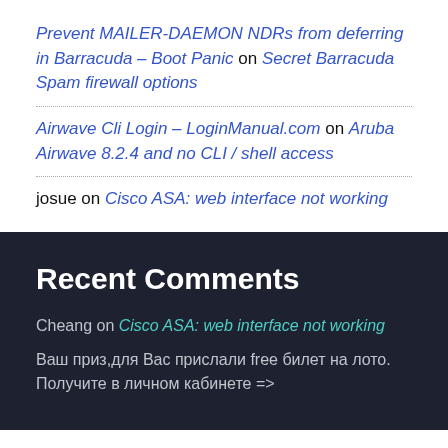Prevent MAILER-DAEMON NDRs from deferring in Barracuda – Boot Panic on Secret Barracuda Spam firewall options
Airwave Cli Login – LoginManual.com on Aruba Airwave 8.2.4 and no CLI / shell access
josue on Cisco ASA: web interface not working
Recent Comments
Cheang on Cisco ASA: web interface not working
Ваш приз,для Вас прислали free билет на лото. Получите в личном кабинете =>